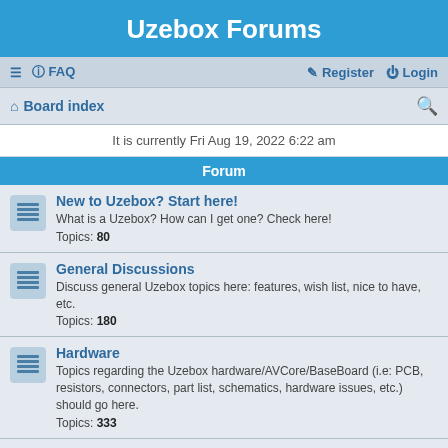Uzebox Forums
☰  FAQ    Register  Login
Board index
It is currently Fri Aug 19, 2022 6:22 am
Forum
New to Uzebox? Start here!
What is a Uzebox? How can I get one? Check here!
Topics: 80
General Discussions
Discuss general Uzebox topics here: features, wish list, nice to have, etc.
Topics: 180
Hardware
Topics regarding the Uzebox hardware/AVCore/BaseBoard (i.e: PCB, resistors, connectors, part list, schematics, hardware issues, etc.) should go here.
Topics: 333
Programming & Software
Topics related to the API, programming discussions & questions, coding tips, bugs, etc. should go here.
Topics: 466
Uzebox Emulator
The Uzebox now have a fully functional emulator! Download and discuss it here.
Topics: 76
Games & Demos
Use this forum to share and discuss Uzebox games and demos.